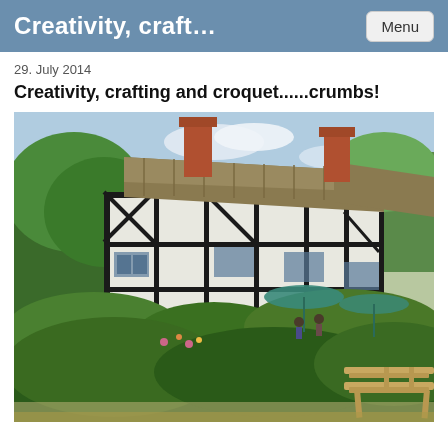Creativity, craft...
29. July 2014
Creativity, crafting and croquet......crumbs!
[Figure (photo): An English Tudor-style building with black and white timber framing, thatched roof sections, brick chimneys, surrounded by lush green gardens with parasols/umbrellas visible and a wooden bench in the foreground right.]